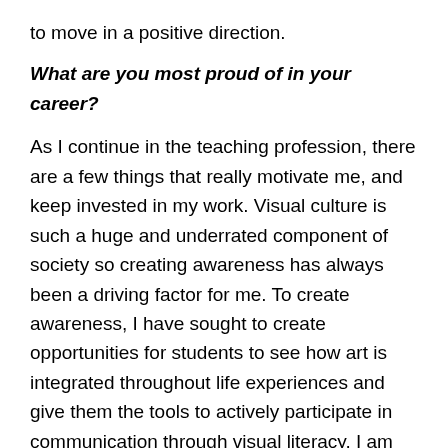to move in a positive direction.
What are you most proud of in your career?
As I continue in the teaching profession, there are a few things that really motivate me, and keep invested in my work. Visual culture is such a huge and underrated component of society so creating awareness has always been a driving factor for me. To create awareness, I have sought to create opportunities for students to see how art is integrated throughout life experiences and give them the tools to actively participate in communication through visual literacy. I am proud of the integrated, collaborative, and extracurricular opportunities I have been able to provide students.
As students develop, there is a gradual shift from the